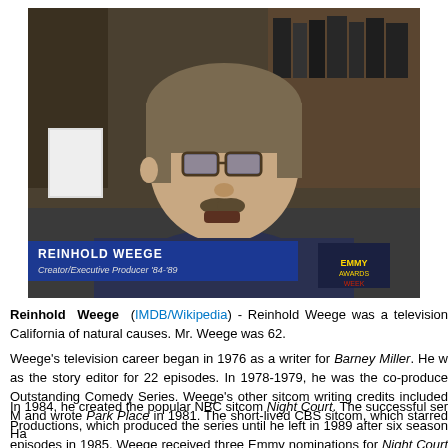[Figure (photo): Video screenshot of Reinhold Weege being interviewed, with lower-third text overlay reading 'REINHOLD WEEGE Creator/Executive Producer 84-89' on a blue banner, and 'EMMY AWARDS WEEK' logo in upper right corner of the chyron area.]
Reinhold Weege (IMDB/Wikipedia) - Reinhold Weege was a television California of natural causes. Mr. Weege was 62.
Weege's television career began in 1976 as a writer for Barney Miller. He w as the story editor for 22 episodes. In 1978-1979, he was the co-produce Outstanding Comedy Series. Weege's other sitcom writing credits included M and wrote Park Place in 1981. The short-lived CBS sitcom, which starred Ha
In 1984, he created the popular NBC sitcom Night Court. The successful ser Productions, which produced the series until he left in 1989 after six season episodes in 1985. Weege received three Emmy nominations for Night Court an audio commentary for the "Pilot" episode and an interview for the 2005 D